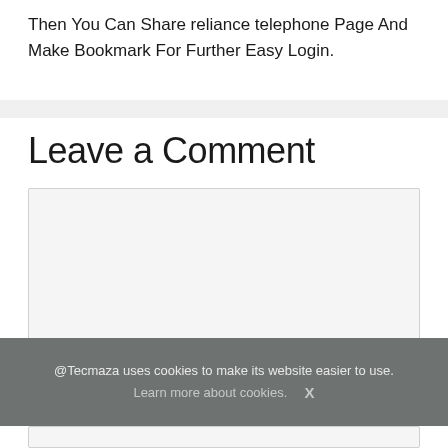Then You Can Share reliance telephone Page And Make Bookmark For Further Easy Login.
Leave a Comment
[Figure (screenshot): Text area input box with light gray background for entering a comment, with a resize handle in the bottom-right corner]
@Tecmaza uses cookies to make its website easier to use. Learn more about cookies. X